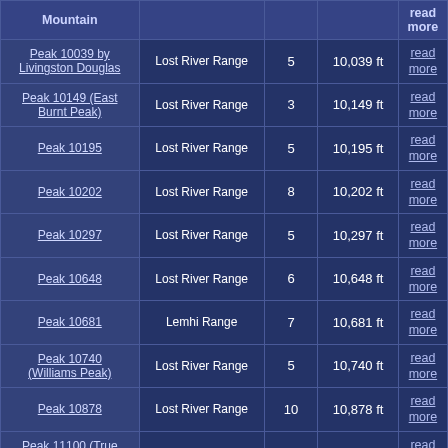| Mountain | Range | Routes | Elevation |  |
| --- | --- | --- | --- | --- |
| Peak 10039 by Livingston Douglas | Lost River Range | 5 | 10,039 ft | read more |
| Peak 10149 (East Burnt Peak) | Lost River Range | 3 | 10,149 ft | read more |
| Peak 10195 | Lost River Range | 5 | 10,195 ft | read more |
| Peak 10202 | Lost River Range | 8 | 10,202 ft | read more |
| Peak 10297 | Lost River Range | 5 | 10,297 ft | read more |
| Peak 10648 | Lost River Range | 6 | 10,648 ft | read more |
| Peak 10681 | Lemhi Range | 7 | 10,681 ft | read more |
| Peak 10740 (Williams Peak) | Lost River Range | 5 | 10,740 ft | read more |
| Peak 10878 | Lost River Range | 10 | 10,878 ft | read more |
| Peak 11100 (True Grit) | Lost River Range | 2 | 11,100 ft | read more |
| Peak 11189 (Mahogany Trident) | Lost River Range | 8 | 11,189 ft | read more |
| Peak 11220 (Apex Peak) | Lost River Range | 2 | 11,220 ft | read more |